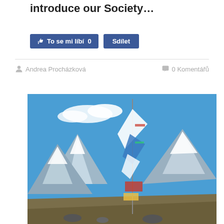introduce our Society…
[Figure (other): Facebook-style social buttons: thumbs-up 'To se mi líbí 0' and 'Sdílet']
Andrea Procházková
0 Komentářů
[Figure (photo): Outdoor mountain landscape photo showing prayer flags in the foreground with snow-capped peaks and blue sky in the background]